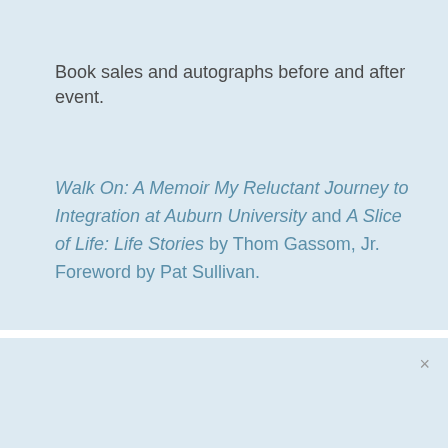Book sales and autographs before and after event.
Walk On: A Memoir My Reluctant Journey to Integration at Auburn University and A Slice of Life: Life Stories by Thom Gassom, Jr. Foreword by Pat Sullivan.
New Possibilities Youth Center After School Program
Thu. 9 Feb, 2017 3:30 pm